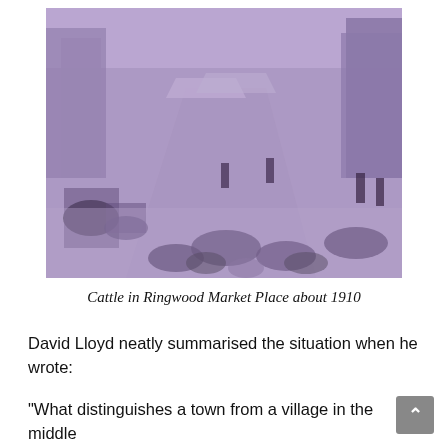[Figure (photo): Historical black-and-white photograph with purple tint showing cattle and people in Ringwood Market Place around 1910. The scene shows a busy market street with livestock (cattle, sheep), horse-drawn carts, market stalls with awnings, and townspeople. Buildings line both sides of a wide street receding into the distance.]
Cattle in Ringwood Market Place about 1910
David Lloyd neatly summarised the situation when he wrote:
“What distinguishes a town from a village in the middle